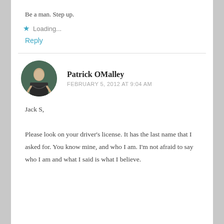Be a man. Step up.
Loading...
Reply
Patrick OMalley
FEBRUARY 5, 2012 AT 9:04 AM
Jack S,
Please look on your driver's license. It has the last name that I asked for. You know mine, and who I am. I'm not afraid to say who I am and what I said is what I believe.